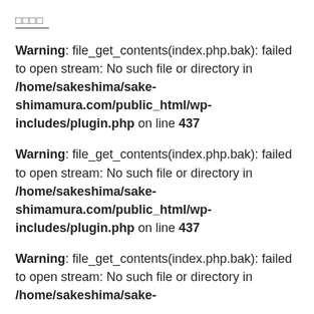□□□□
Warning: file_get_contents(index.php.bak): failed to open stream: No such file or directory in /home/sakeshima/sake-shimamura.com/public_html/wp-includes/plugin.php on line 437
Warning: file_get_contents(index.php.bak): failed to open stream: No such file or directory in /home/sakeshima/sake-shimamura.com/public_html/wp-includes/plugin.php on line 437
Warning: file_get_contents(index.php.bak): failed to open stream: No such file or directory in /home/sakeshima/sake-